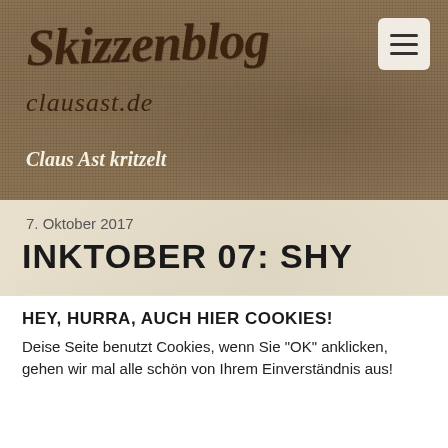Skizzenblog clausast.de — Claus Ast kritzelt
7. Oktober 2017
INKTOBER 07: SHY
HEY, HURRA, AUCH HIER COOKIES!
Deise Seite benutzt Cookies, wenn Sie "OK" anklicken, gehen wir mal alle schön von Ihrem Einverständnis aus!
Einstellungen | OK